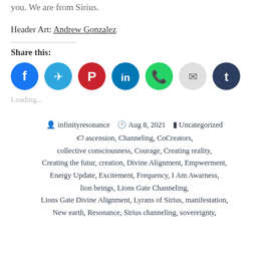you. We are from Sirius.
Header Art: Andrew Gonzalez
Share this:
[Figure (other): Social share buttons: Facebook (blue), Telegram (blue), Pinterest (red), LinkedIn (teal), WhatsApp (green), Email (light gray), Tumblr (dark navy)]
Loading...
infinityresonance   Aug 8, 2021   Uncategorized
ascension, Channeling, CoCreators, collective consciousness, Courage, Creating reality, Creating the futur, creation, Divine Alignment, Empwerment, Energy Update, Excitement, Frequency, I Am Awarness, lion beings, Lions Gate Channeling, Lions Gate Divine Alignment, Lyrans of Sirius, manifestation, New earth, Resonance, Sirius channeling, sovereignty,